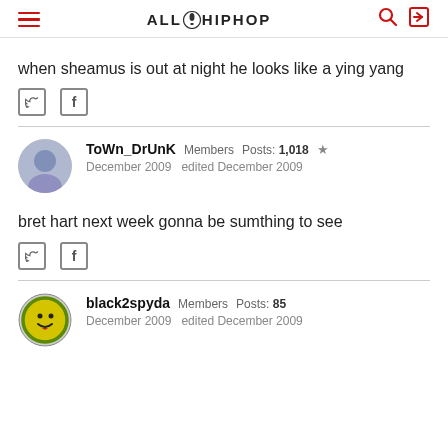ALLHIPHOP
when sheamus is out at night he looks like a ying yang
ToWn_DrUnK  Members  Posts: 1,018  ★
December 2009  edited December 2009
bret hart next week gonna be sumthing to see
black2spyda  Members  Posts: 85
December 2009  edited December 2009